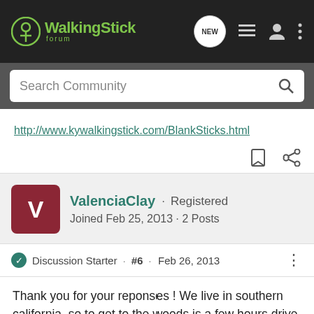WalkingStick Forum
Search Community
http://www.kywalkingstick.com/BlankSticks.html
ValenciaClay · Registered
Joined Feb 25, 2013 · 2 Posts
Discussion Starter · #6 · Feb 26, 2013
Thank you for your reponses ! We live in southern california, so to get to the woods is a few hours drive for us. Our local terrain is chapparal. Plus with (30) 1-5th graders, I think for this project its best to supply them with a stick to start. JJireh, I will contact Kentucky Walking sticks. Thx Again. Kind Regards. Clay